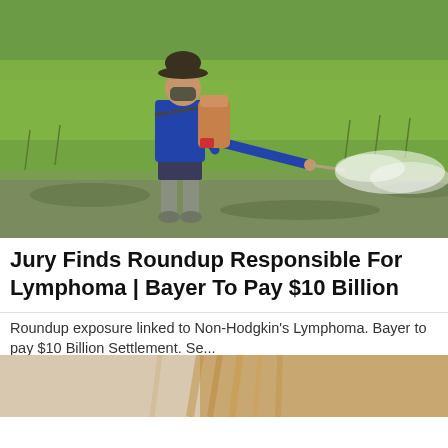[Figure (photo): Farmer in blue long-sleeve shirt and hat, wearing gray rubber boots, spraying pesticide with a backpack sprayer in a green rice field. White spray mist visible from the nozzle.]
Jury Finds Roundup Responsible For Lymphoma | Bayer To Pay $10 Billion
Roundup exposure linked to Non-Hodgkin's Lymphoma. Bayer to pay $10 Billion Settlement. Se...
National Injury Bureau | Sponsored
[Figure (photo): Partial view of a woman with blonde hair, cropped at the top of the frame.]